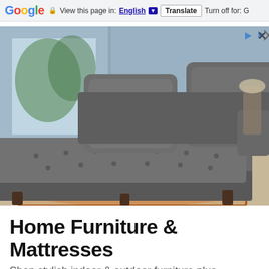Google  View this page in: English [▼]  Translate  Turn off for: G
[Figure (photo): A large gray tufted sectional sofa with two large throw pillows, photographed in a modern living room setting with large windows, a colorful area rug, and a side table with lamp.]
Home Furniture & Mattresses
Shop stylish indoor & outdoor furniture plus mattresses